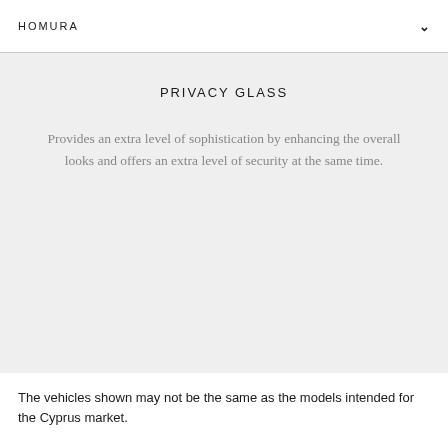HOMURA
PRIVACY GLASS
Provides an extra level of sophistication by enhancing the overall looks and offers an extra level of security at the same time.
The vehicles shown may not be the same as the models intended for the Cyprus market.